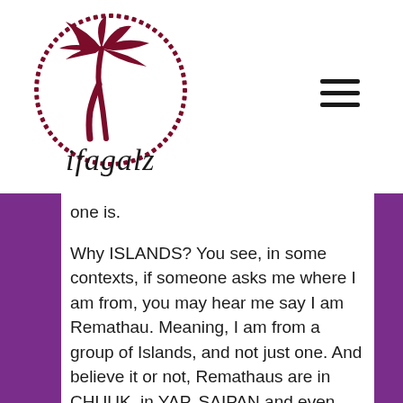[Figure (logo): ifagalz logo: a dark red/maroon palm tree inside a dotted circle, with the text 'ifagalz' below the tree in a serif-style font]
one is.
Why ISLANDS? You see, in some contexts, if someone asks me where I am from, you may hear me say I am Remathau. Meaning, I am from a group of Islands, and not just one. And believe it or not, Remathaus are in CHUUK, in YAP, SAIPAN and even PALAU.